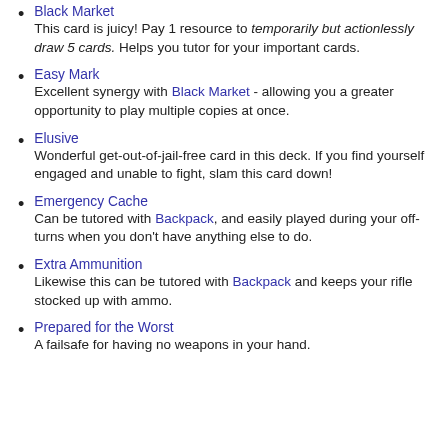Black Market — This card is juicy! Pay 1 resource to temporarily but actionlessly draw 5 cards. Helps you tutor for your important cards.
Easy Mark — Excellent synergy with Black Market - allowing you a greater opportunity to play multiple copies at once.
Elusive — Wonderful get-out-of-jail-free card in this deck. If you find yourself engaged and unable to fight, slam this card down!
Emergency Cache — Can be tutored with Backpack, and easily played during your off-turns when you don't have anything else to do.
Extra Ammunition — Likewise this can be tutored with Backpack and keeps your rifle stocked up with ammo.
Prepared for the Worst — A failsafe for having no weapons in your hand.